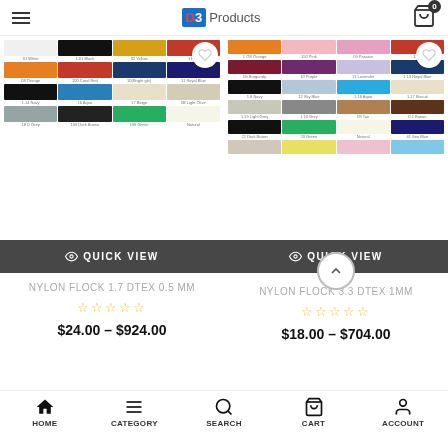D3 Products
[Figure (photo): Color swatch grid for Nylon Flock 1.7 Dtex 0.5 MM product showing multiple fabric colors]
[Figure (photo): Color swatch grid for Nylon Flock 3.3 Dtex 1MM product showing multiple fabric colors]
QUICK VIEW
QUICK VIEW
NYLON FLOCK 1.7 DTEX 0.5 MM
NYLON FLOCK 3.3 DTEX 1MM
$24.00 – $924.00
$18.00 – $704.00
HOME   CATEGORY   SEARCH   CART   ACCOUNT